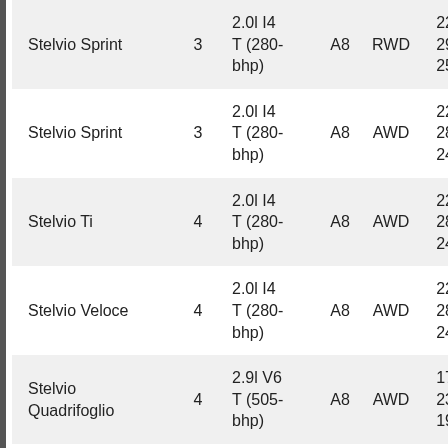| Model | Doors | Engine | Trans | Drive | MPG |
| --- | --- | --- | --- | --- | --- |
| Stelvio Sprint | 3 | 2.0l I4 T (280-bhp) | A8 | RWD | 22
29
25 |
| Stelvio Sprint | 3 | 2.0l I4 T (280-bhp) | A8 | AWD | 22
28
24 |
| Stelvio Ti | 4 | 2.0l I4 T (280-bhp) | A8 | AWD | 22
28
24 |
| Stelvio Veloce | 4 | 2.0l I4 T (280-bhp) | A8 | AWD | 22
28
24 |
| Stelvio Quadrifoglio | 4 | 2.9l V6 T (505-bhp) | A8 | AWD | 17
23
19 |